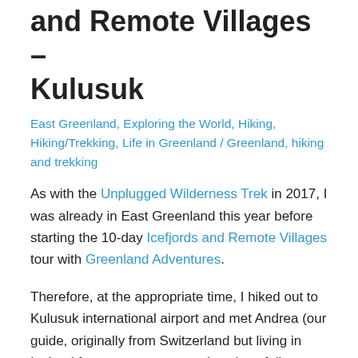and Remote Villages – Kulusuk
East Greenland, Exploring the World, Hiking, Hiking/Trekking, Life in Greenland / Greenland, hiking and trekking
As with the Unplugged Wilderness Trek in 2017, I was already in East Greenland this year before starting the 10-day Icefjords and Remote Villages tour with Greenland Adventures.
Therefore, at the appropriate time, I hiked out to Kulusuk international airport and met Andrea (our guide, originally from Switzerland but living in Iceland for many, many years) and my fellow travelers for the